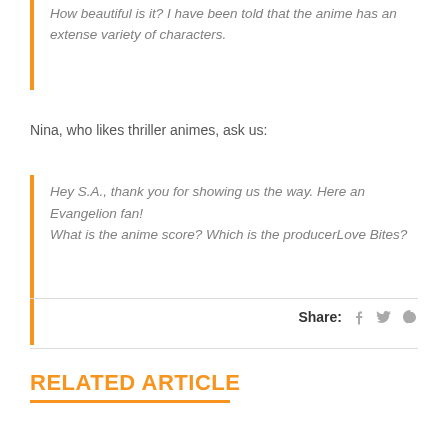How beautiful is it? I have been told that the anime has an extense variety of characters.
Nina, who likes thriller animes, ask us:
Hey S.A., thank you for showing us the way. Here an Evangelion fan!
What is the anime score? Which is the producerLove Bites?
Share:
RELATED ARTICLE